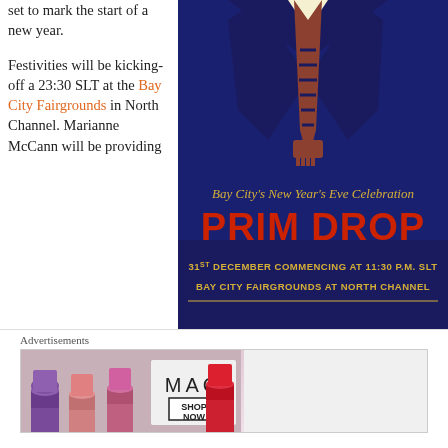set to mark the start of a new year.
Festivities will be kicking-off a 23:30 SLT at the Bay City Fairgrounds in North Channel. Marianne McCann will be providing the music and fireworks, and food and drink will be provided.
[Figure (illustration): Poster for Bay City's New Year's Eve Celebration - PRIM DROP. 31st December commencing at 11:30 P.M. SLT, Bay City Fairgrounds at North Channel. Dark navy background with a stylized figure in a suit/tie, text in red and yellow.]
Advertisements
[Figure (photo): MAC cosmetics advertisement banner showing colorful lipsticks on the left and MAC logo with SHOP NOW box on the right]